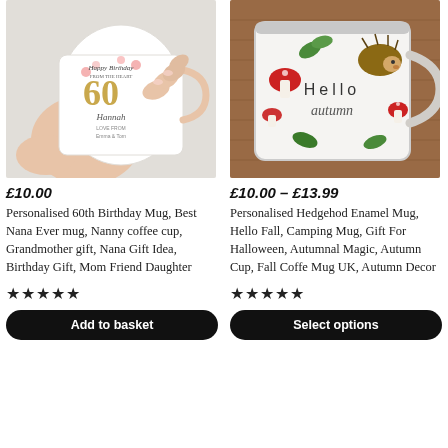[Figure (photo): Person holding a white ceramic mug with Happy Birthday from the heart text, a large gold 60, floral decoration, and name Hannah with love from Emma & Tom]
£10.00
Personalised 60th Birthday Mug, Best Nana Ever mug, Nanny coffee cup, Grandmother gift, Nana Gift Idea, Birthday Gift, Mom Friend Daughter
★★★★★
Add to basket
[Figure (photo): White enamel camping mug with Hello autumn text, hedgehog, mushrooms and autumn leaves decoration, placed on a brown knitted fabric background]
£10.00 – £13.99
Personalised Hedgehod Enamel Mug, Hello Fall, Camping Mug, Gift For Halloween, Autumnal Magic, Autumn Cup, Fall Coffe Mug UK, Autumn Decor
★★★★★
Select options